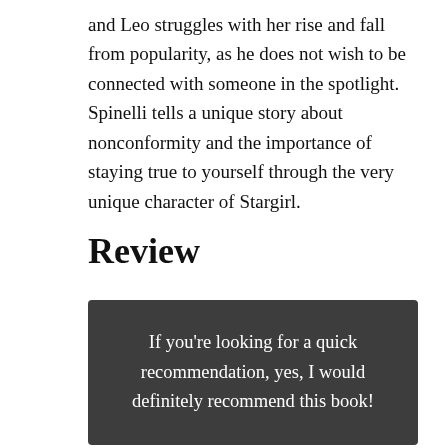and Leo struggles with her rise and fall from popularity, as he does not wish to be connected with someone in the spotlight. Spinelli tells a unique story about nonconformity and the importance of staying true to yourself through the very unique character of Stargirl.
Review
If you're looking for a quick recommendation, yes, I would definitely recommend this book!